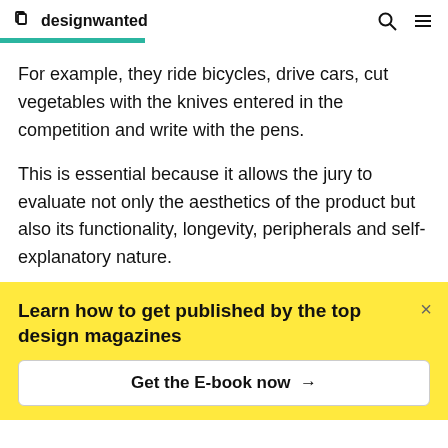designwanted
For example, they ride bicycles, drive cars, cut vegetables with the knives entered in the competition and write with the pens.
This is essential because it allows the jury to evaluate not only the aesthetics of the product but also its functionality, longevity, peripherals and self-explanatory nature.
Learn how to get published by the top design magazines
Get the E-book now →